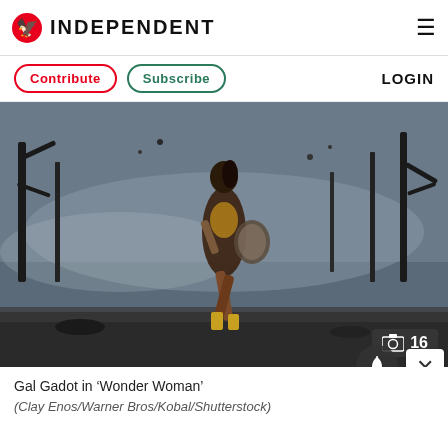INDEPENDENT
Contribute  Subscribe  LOGIN
[Figure (photo): Gal Gadot as Wonder Woman running through a battle-damaged landscape with burned trees and debris, wearing the Wonder Woman costume with shield and sword. A camera icon badge shows '16' photos.]
Gal Gadot in ‘Wonder Woman’
(Clay Enos/Warner Bros/Kobal/Shutterstock)